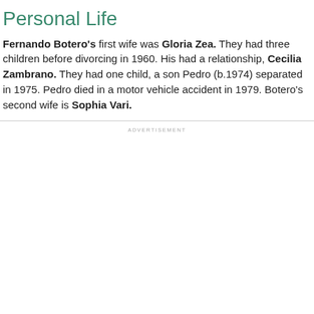Personal Life
Fernando Botero's first wife was Gloria Zea. They had three children before divorcing in 1960. His had a relationship, Cecilia Zambrano. They had one child, a son Pedro (b.1974) separated in 1975. Pedro died in a motor vehicle accident in 1979. Botero's second wife is Sophia Vari.
ADVERTISEMENT